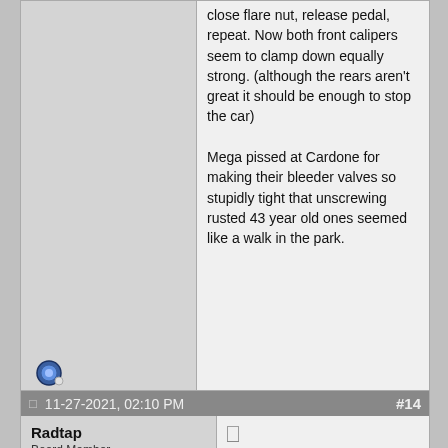close flare nut, release pedal, repeat. Now both front calipers seem to clamp down equally strong. (although the rears aren't great it should be enough to stop the car)

Mega pissed at Cardone for making their bleeder valves so stupidly tight that unscrewing rusted 43 year old ones seemed like a walk in the park.
quote post
11-27-2021, 02:10 PM  #14
Radtap
Board Member
Sure it isn't 8mm?